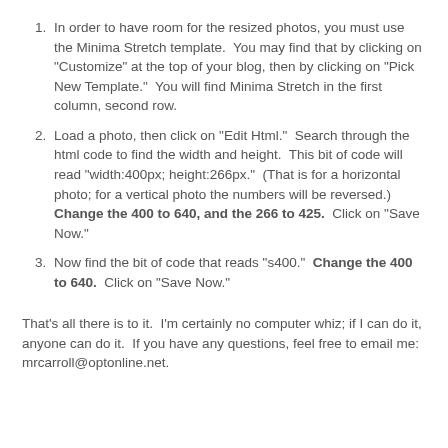In order to have room for the resized photos, you must use the Minima Stretch template.  You may find that by clicking on "Customize" at the top of your blog, then by clicking on "Pick New Template."  You will find Minima Stretch in the first column, second row.
Load a photo, then click on "Edit Html."  Search through the html code to find the width and height.  This bit of code will read "width:400px; height:266px."  (That is for a horizontal photo; for a vertical photo the numbers will be reversed.)  Change the 400 to 640, and the 266 to 425.  Click on "Save Now."
Now find the bit of code that reads "s400."  Change the 400 to 640.  Click on "Save Now."
That's all there is to it.  I'm certainly no computer whiz; if I can do it, anyone can do it.  If you have any questions, feel free to email me: mrcarroll@optonline.net.